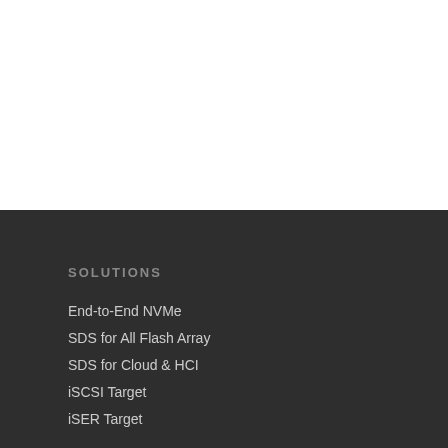SOLUTIONS
End-to-End NVMe
SDS for All Flash Array
SDS for Cloud & HCI
iSCSI Target
iSER Target